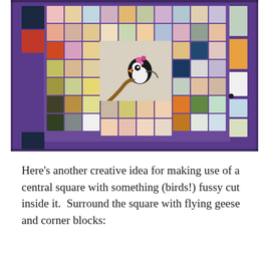[Figure (photo): A colorful patchwork quilt with a purple border/background. The quilt features a grid of small multicolored fabric squares in various patterns, with a central appliqued bird motif (black and white bird with orange beak and pink flowers). The quilt is displayed hanging, showing portions of the purple sashing between the blocks.]
Here's another creative idea for making use of a central square with something (birds!) fussy cut inside it.  Surround the square with flying geese and corner blocks: